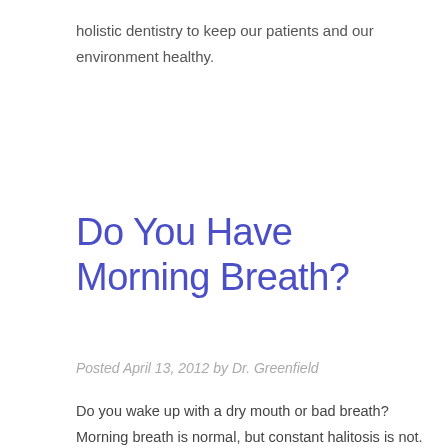holistic dentistry to keep our patients and our environment healthy.
Do You Have Morning Breath?
Posted April 13, 2012 by Dr. Greenfield
Do you wake up with a dry mouth or bad breath? Morning breath is normal, but constant halitosis is not. Visit Dr. Greenfield to learn more about breath fresh...